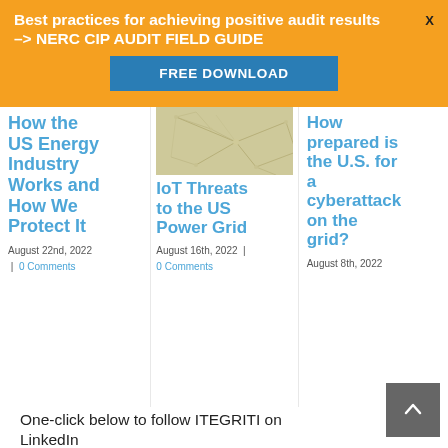Best practices for achieving positive audit results -> NERC CIP AUDIT FIELD GUIDE
FREE DOWNLOAD
How the US Energy Industry Works and How We Protect It
August 22nd, 2022  |  0 Comments
[Figure (photo): Network/connectivity abstract image with golden/beige tones]
IoT Threats to the US Power Grid
August 16th, 2022  |  0 Comments
How prepared is the U.S. for a cyberattack on the grid?
August 8th, 2022
One-click below to follow ITEGRITI on LinkedIn